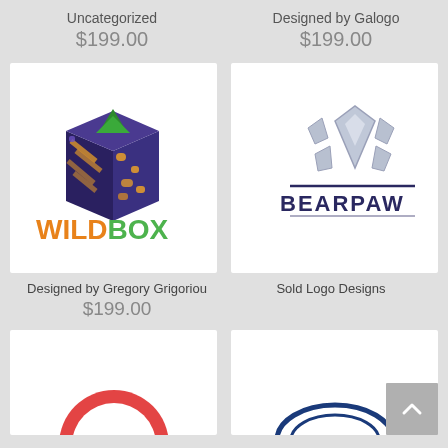Uncategorized
$199.00
Designed by Galogo
$199.00
[Figure (logo): WILDBOX logo: colorful illustrated box with animal prints and green trees on top, text WILDBOX in orange and green bold letters below]
[Figure (logo): BEARPAW logo: silver/grey geometric bear paw print icon above dark navy text BEARPAW with horizontal lines]
Designed by Gregory Grigoriou
$199.00
Sold Logo Designs
[Figure (logo): Partially visible logo with red circular element at bottom]
[Figure (logo): Partially visible logo with blue arch/dome shape and lines]